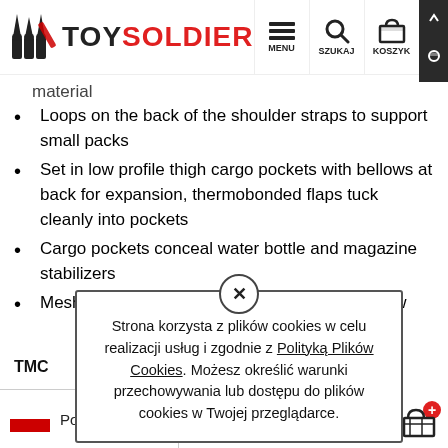TOYSOLDIER — MENU SZUKAJ KOSZYK
material
Loops on the back of the shoulder straps to support small packs
Set in low profile thigh cargo pockets with bellows at back for expansion, thermobonded flaps tuck cleanly into pockets
Cargo pockets conceal water bottle and magazine stabilizers
Mesh venting on all pockets for maximum airflow
Strona korzysta z plików cookies w celu realizacji usług i zgodnie z Polityką Plików Cookies. Możesz określić warunki przechowywania lub dostępu do plików cookies w Twojej przeglądarce.
TMC
Polski